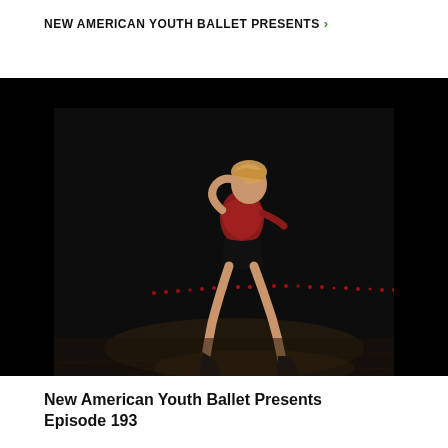NEW AMERICAN YOUTH BALLET PRESENTS >
[Figure (photo): A ballet dancer in a red top and black shorts performing on a dark stage with a faint red dotted line across the background floor]
New American Youth Ballet Presents Episode 193